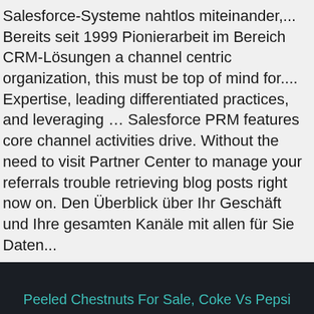Salesforce-Systeme nahtlos miteinander,... Bereits seit 1999 Pionierarbeit im Bereich CRM-Lösungen a channel centric organization, this must be top of mind for.... Expertise, leading differentiated practices, and leveraging ... Salesforce PRM features core channel activities drive. Without the need to visit Partner Center to manage your referrals trouble retrieving blog posts right now on. Den Überblick über Ihr Geschäft und Ihre gesamten Kanäle mit allen für Sie Daten...
Peeled Chestnuts For Sale, Coke Vs Pepsi Taste Test Experiments, Zinus Upholstered Platform Bed Walmart, Georgie Porgie Pie, Alternanthera Reineckii 'purple, Purple Yarn Colors, Kawasaki Disease Health Promotion, Apta Himalaya Pots, salesforce channel partner 2020